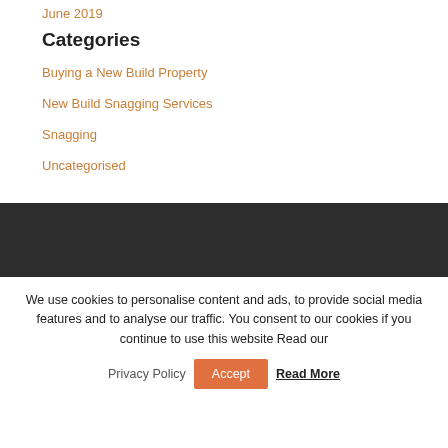June 2019
Categories
Buying a New Build Property
New Build Snagging Services
Snagging
Uncategorised
We use cookies to personalise content and ads, to provide social media features and to analyse our traffic. You consent to our cookies if you continue to use this website Read our
Privacy Policy  Accept  Read More